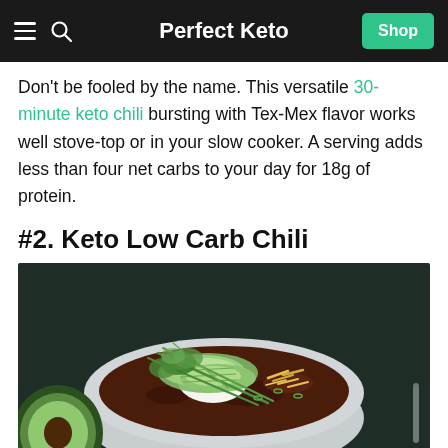Perfect Keto
Don't be fooled by the name. This versatile 30-minute keto chili bursting with Tex-Mex flavor works well stove-top or in your slow cooker. A serving adds less than four net carbs to your day for 18g of protein.
#2. Keto Low Carb Chili
[Figure (photo): A bowl of keto low carb chili topped with sliced avocado, shredded cheese, sour cream, green onions, and cilantro, with half an avocado visible on the left side, all on a dark surface.]